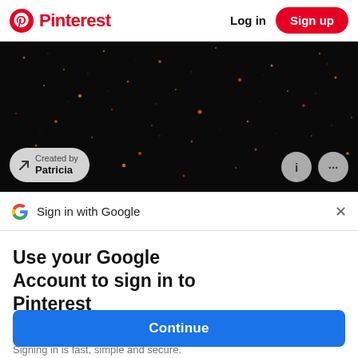Pinterest  Log in  Sign up
[Figure (photo): Dark starfield/galaxy background image with orange/red glowing star particles on black background. Overlay shows 'Created by Patricia' pill button, and two circular icon buttons (info and more options).]
Sign in with Google
Use your Google Account to sign in to Pinterest
No more passwords to remember. Signing in is fast, simple and secure.
[Figure (illustration): Google key illustration with colorful overlapping circles and a golden key icon]
Continue